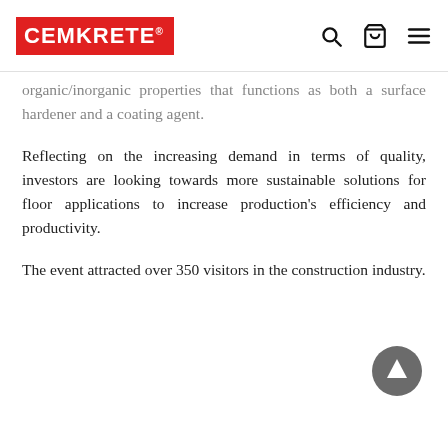CEMKRETE®
organic/inorganic properties that functions as both a surface hardener and a coating agent.
Reflecting on the increasing demand in terms of quality, investors are looking towards more sustainable solutions for floor applications to increase production's efficiency and productivity.
The event attracted over 350 visitors in the construction industry.